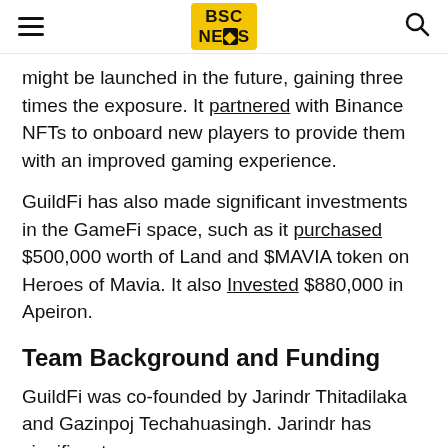BSC NEWS
might be launched in the future, gaining three times the exposure. It partnered with Binance NFTs to onboard new players to provide them with an improved gaming experience.
GuildFi has also made significant investments in the GameFi space, such as it purchased $500,000 worth of Land and $MAVIA token on Heroes of Mavia. It also Invested $880,000 in Apeiron.
Team Background and Funding
GuildFi was co-founded by Jarindr Thitadilaka and Gazinpoj Techahuasingh. Jarindr has significant